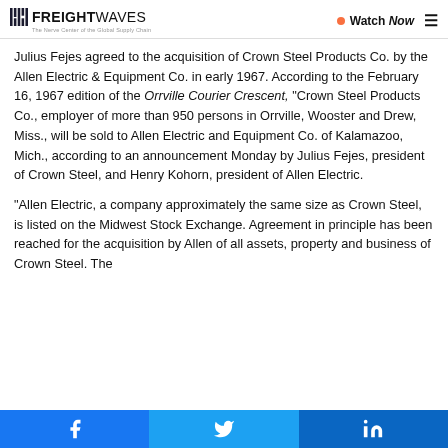FREIGHTWAVES — The Nerve Center of the Global Supply Chain | Watch Now
Julius Fejes agreed to the acquisition of Crown Steel Products Co. by the Allen Electric & Equipment Co. in early 1967. According to the February 16, 1967 edition of the Orrville Courier Crescent, "Crown Steel Products Co., employer of more than 950 persons in Orrville, Wooster and Drew, Miss., will be sold to Allen Electric and Equipment Co. of Kalamazoo, Mich., according to an announcement Monday by Julius Fejes, president of Crown Steel, and Henry Kohorn, president of Allen Electric.
"Allen Electric, a company approximately the same size as Crown Steel, is listed on the Midwest Stock Exchange. Agreement in principle has been reached for the acquisition by Allen of all assets, property and business of Crown Steel. The
Facebook | Twitter | LinkedIn